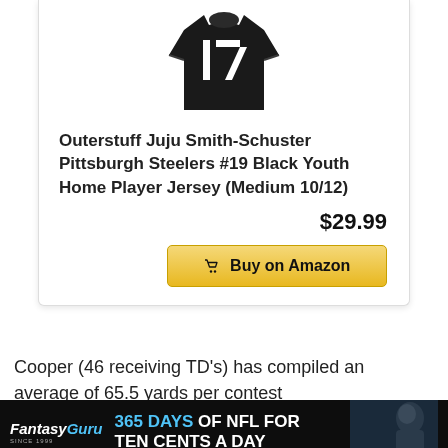[Figure (photo): Black sports jersey with number 17 on a product card]
Outerstuff Juju Smith-Schuster Pittsburgh Steelers #19 Black Youth Home Player Jersey (Medium 10/12)
$29.99
Buy on Amazon
Cooper (46 receiving TD’s) has compiled an average of 65.5 yards per contest
[Figure (photo): FantasyGuru advertisement banner: 365 DAYS OF NFL FOR TEN CENTS A DAY with football player photo]
of his career went for 90 yards and he’s been able to snag 63.2% of the balls